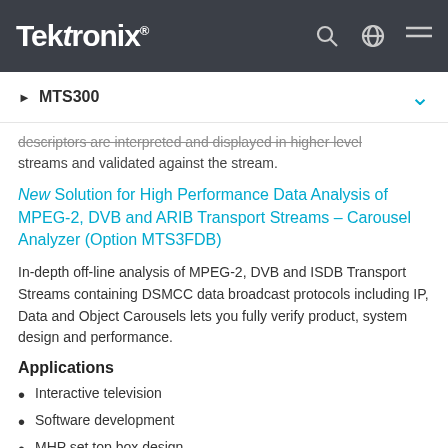Tektronix
MTS300
descriptors are interpreted and displayed in higher level streams and validated against the stream.
New Solution for High Performance Data Analysis of MPEG-2, DVB and ARIB Transport Streams – Carousel Analyzer (Option MTS3FDB)
In-depth off-line analysis of MPEG-2, DVB and ISDB Transport Streams containing DSMCC data broadcast protocols including IP, Data and Object Carousels lets you fully verify product, system design and performance.
Applications
Interactive television
Software development
MHP set top box design
Carousel multiplexing
Data broadcasting systems installation and integration